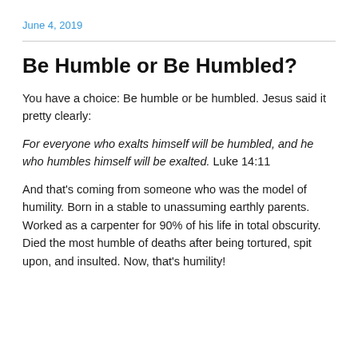June 4, 2019
Be Humble or Be Humbled?
You have a choice: Be humble or be humbled. Jesus said it pretty clearly:
For everyone who exalts himself will be humbled, and he who humbles himself will be exalted. Luke 14:11
And that’s coming from someone who was the model of humility. Born in a stable to unassuming earthly parents. Worked as a carpenter for 90% of his life in total obscurity. Died the most humble of deaths after being tortured, spit upon, and insulted. Now, that’s humility!